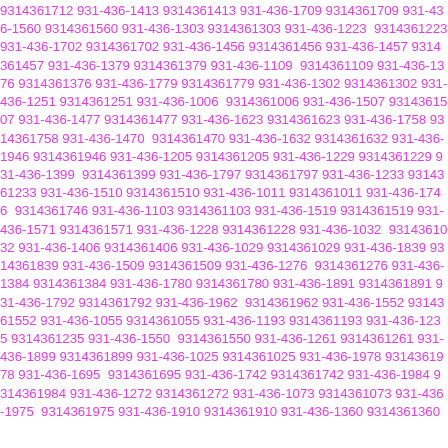9314361712 931-436-1413 9314361413 931-436-1709 9314361709 931-436-1560 9314361560 931-436-1303 9314361303 931-436-1223 9314361223 931-436-1702 9314361702 931-436-1456 9314361456 931-436-1457 9314361457 931-436-1379 9314361379 931-436-1109 9314361109 931-436-1376 9314361376 931-436-1779 9314361779 931-436-1302 9314361302 931-436-1251 9314361251 931-436-1006 9314361006 931-436-1507 9314361507 931-436-1477 9314361477 931-436-1623 9314361623 931-436-1758 9314361758 931-436-1470 9314361470 931-436-1632 9314361632 931-436-1946 9314361946 931-436-1205 9314361205 931-436-1229 9314361229 931-436-1399 9314361399 931-436-1797 9314361797 931-436-1233 9314361233 931-436-1510 9314361510 931-436-1011 9314361011 931-436-1746 9314361746 931-436-1103 9314361103 931-436-1519 9314361519 931-436-1571 9314361571 931-436-1228 9314361228 931-436-1032 9314361032 931-436-1406 9314361406 931-436-1029 9314361029 931-436-1839 9314361839 931-436-1509 9314361509 931-436-1276 9314361276 931-436-1384 9314361384 931-436-1780 9314361780 931-436-1891 9314361891 931-436-1792 9314361792 931-436-1962 9314361962 931-436-1552 9314361552 931-436-1055 9314361055 931-436-1193 9314361193 931-436-1235 9314361235 931-436-1550 9314361550 931-436-1261 9314361261 931-436-1899 9314361899 931-436-1025 9314361025 931-436-1978 9314361978 931-436-1695 9314361695 931-436-1742 9314361742 931-436-1984 9314361984 931-436-1272 9314361272 931-436-1073 9314361073 931-436-1975 9314361975 931-436-1910 9314361910 931-436-1360 9314361360